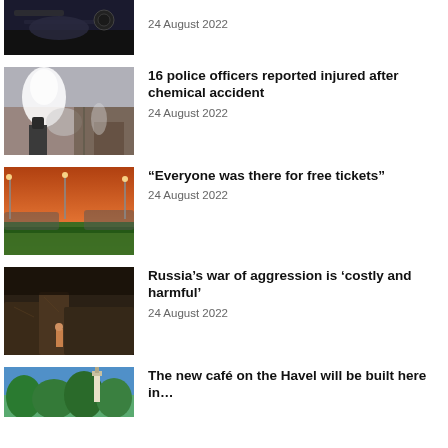[Figure (photo): Partial view of a car dashboard/grille close-up, dark tones]
24 August 2022
[Figure (photo): Chemical hazmat scene with white smoke/vapor and industrial background]
16 police officers reported injured after chemical accident
24 August 2022
[Figure (photo): Stadium at sunset with dramatic orange sky]
“Everyone was there for free tickets”
24 August 2022
[Figure (photo): Dark stone ruins with a figure standing nearby]
Russia’s war of aggression is ‘costly and harmful’
24 August 2022
[Figure (photo): Trees and a tower/lighthouse in blue sky]
The new café on the Havel will be built here in…